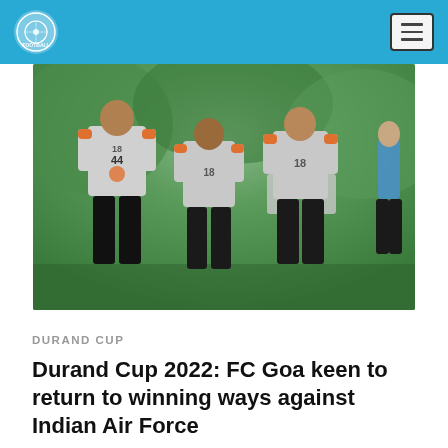Football India header with logo and navigation menu
[Figure (photo): Three FC Goa football players in grey training kits jogging/running during training session with green foliage in background]
DURAND CUP
Durand Cup 2022: FC Goa keen to return to winning ways against Indian Air Force
Mumbai, August 18, 2022: Defending champions FC Goa may not have started their Durand Cup 2022 campaign on a strong note, but a comeback is